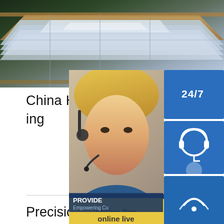[Figure (photo): Photo of stacked metal sheets or aluminum panels in a workshop/industrial setting, viewed from above at an angle. Light reflects off the smooth metallic surfaces.]
China High Precision Custom CNC Lathe Machining Turning
Precision Turning Parts, CNC, Stainless Steel Parts manufacturer / supplier in China, offering High Precision Custom CNC Lathe Machining Turning Milling Metal Stainless Steel Copper Brass Aluminum Auto Spare Machine Parts, Best CNC Parts Machining Brass Miling Turning Part, Power Coating Sheet Metal Welding Laser Cutting Casting Stamping Service and so on.sp.infoHigh Precision Custom CNC Lathe Machining Turning High Precision Custom CNC Lathe Machining Turning Milling Metal Stainless Steel Parts Auto Machine Parts
[Figure (photo): Customer service widget overlay with: 24/7 button (blue), headset icon (blue), phone/call icon (blue), Skype icon (blue), woman with headset photo, PROVIDE Empowering Cu... text bar (dark blue), and online live button (yellow).]